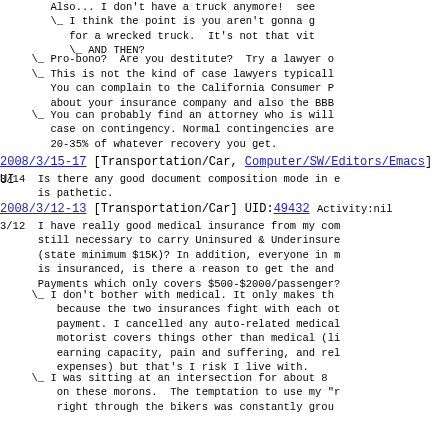Also... I don't have a truck anymore!  see
\_ I think the point is you aren't gonna g
   for a wrecked truck.  It's not that vit
   \_ AND THEN?
\_ Pro-bono?  Are you destitute?  Try a lawyer o
\_ This is not the kind of case lawyers typicall
   You can complain to the California Consumer P
   about your insurance company and also the BBB
\_ You can probably find an attorney who is will
   case on contingency. Normal contingencies are
   20-35% of whatever recovery you get.
2008/3/15-17 [Transportation/Car, Computer/SW/Editors/Emacs] UI
3/14	Is there any good document composition mode in e
	is pathetic.
2008/3/12-13 [Transportation/Car] UID:49432 Activity:nil
3/12	I have really good medical insurance from my com
	still necessary to carry Uninsured & Underinsure
	(state minimum $15K)? In addition, everyone in m
	is insuranced, is there a reason to get the and 
	Payments which only covers $500-$2000/passenger?
\_ I don't bother with medical. It only makes th
   because the two insurances fight with each ot
   payment. I cancelled any auto-related medical
   motorist covers things other than medical (li
   earning capacity, pain and suffering, and rel
   expenses) but that's I risk I live with.
\_ I was sitting at an intersection for about 8 
   on these morons.  The temptation to use my "r
   right through the bikers was constantly grou